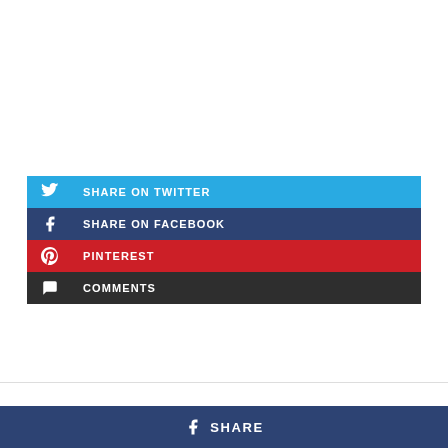SHARE ON TWITTER
SHARE ON FACEBOOK
PINTEREST
COMMENTS
SHARE